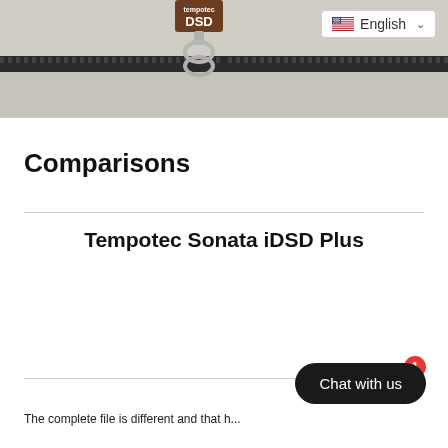[Figure (photo): Close-up photo of a fabric zipper with a metallic zipper pull and a brown tag reading 'DSD'. A language selector pill showing a US flag and 'English' with a dropdown chevron is overlaid in the top-right corner.]
Comparisons
Tempotec Sonata iDSD Plus
The complete file is different and that...